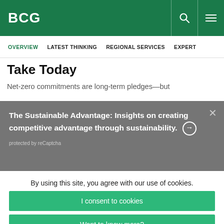BCG
OVERVIEW  LATEST THINKING  REGIONAL SERVICES  EXPERTS
Take Today
Net-zero commitments are long-term pledges—but
The Sustainable Advantage: Insights on creating competitive advantage through sustainability. ⊙
protected by reCaptcha
By using this site, you agree with our use of cookies.
I consent to cookies
Want to know more?
Read our Cookie Policy